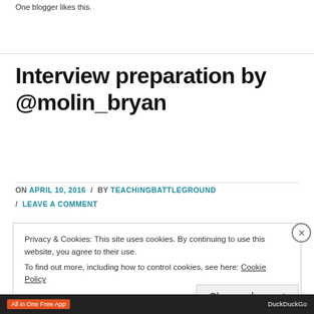One blogger likes this.
Interview preparation by @molin_bryan
ON APRIL 10, 2016 / BY TEACHINGBATTLEGROUND / LEAVE A COMMENT
Privacy & Cookies: This site uses cookies. By continuing to use this website, you agree to their use. To find out more, including how to control cookies, see here: Cookie Policy
Close and accept